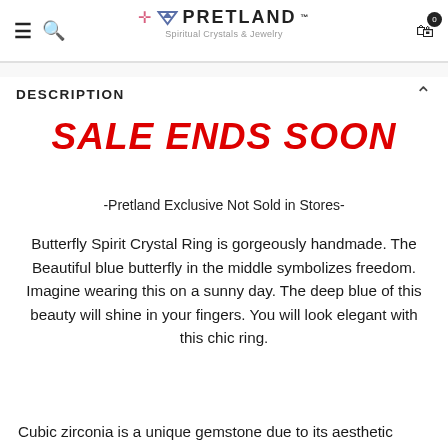Pretland — Spiritual Crystals & Jewelry
DESCRIPTION
SALE ENDS SOON
-Pretland Exclusive Not Sold in Stores-
Butterfly Spirit Crystal Ring is gorgeously handmade. The Beautiful blue butterfly in the middle symbolizes freedom. Imagine wearing this on a sunny day. The deep blue of this beauty will shine in your fingers. You will look elegant with this chic ring.
Cubic zirconia is a unique gemstone due to its aesthetic